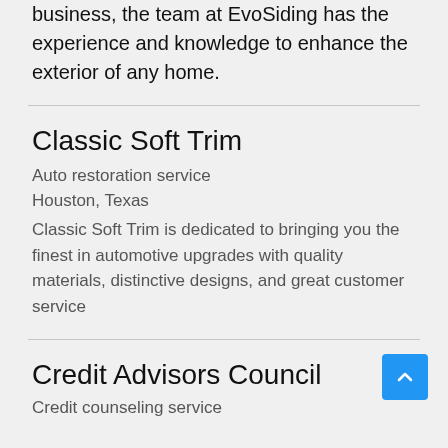business, the team at EvoSiding has the experience and knowledge to enhance the exterior of any home.
Classic Soft Trim
Auto restoration service
Houston, Texas
Classic Soft Trim is dedicated to bringing you the finest in automotive upgrades with quality materials, distinctive designs, and great customer service
Credit Advisors Council
Credit counseling service